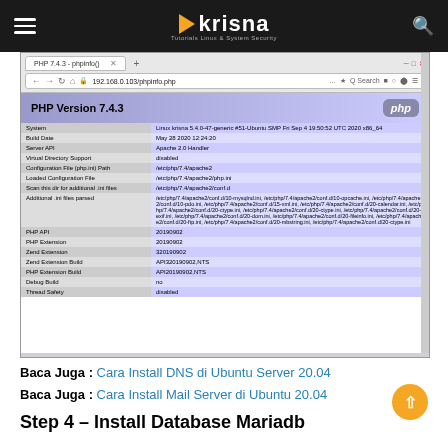krisna — Tutorials Linux & System Security
[Figure (screenshot): Browser screenshot showing PHP Version 7.4.3 phpinfo() page with system information table including System, Build Date, Server API, Virtual Directory Support, Configuration File path, Loaded Configuration File, Scan this dir for additional .ini files, Additional .ini files parsed, PHP API, PHP Extension, Zend Extension, Zend Extension Build, PHP Extension Build, Debug Build, Thread Safety fields.]
Baca Juga : Cara Install DNS di Ubuntu Server 20.04
Baca Juga : Cara Install Mail Server di Ubuntu 20.04
Step 4 – Install Database Mariadb